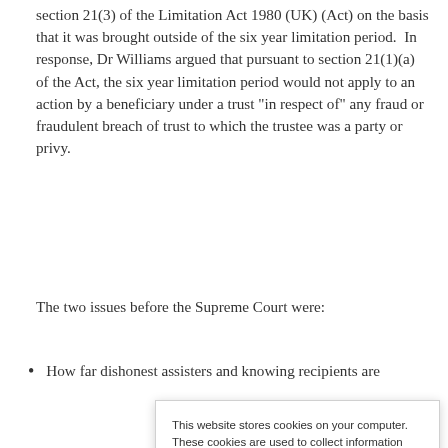section 21(3) of the Limitation Act 1980 (UK) (Act) on the basis that it was brought outside of the six year limitation period.  In response, Dr Williams argued that pursuant to section 21(1)(a) of the Act, the six year limitation period would not apply to an action by a beneficiary under a trust "in respect of" any fraud or fraudulent breach of trust to which the trustee was a party or privy.
The two issues before the Supreme Court were:
How far dishonest assisters and knowing recipients are
This website stores cookies on your computer. These cookies are used to collect information about how you interact with our website and allow us to remember you. We use this information in order to improve and customize your browsing experience and for analytics and metrics about our visitors both on this website and when they interact with other media from us (including email, social media and landing pages). To find out more about the cookies we use, see our Privacy Policy.